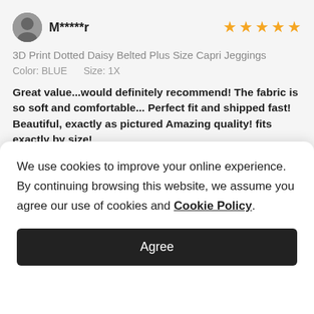M*****r
[Figure (other): 5 orange star rating icons]
3D Print Dotted Daisy Belted Plus Size Capri Jeggings
Color: BLUE    Size: 1X
Great value...would definitely recommend! The fabric is so soft and comfortable... Perfect fit and shipped fast! Beautiful, exactly as pictured Amazing quality! fits exactly by size!
Overall Fit: Fidèle à la Taille
04/44/2021 44:00:47
We use cookies to improve your online experience. By continuing browsing this website, we assume you agree our use of cookies and Cookie Policy.
Agree